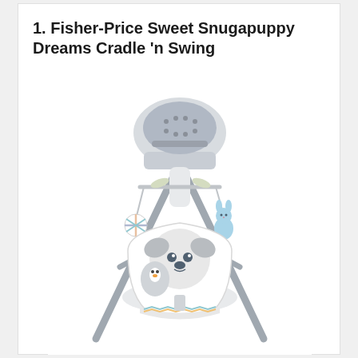1. Fisher-Price Sweet Snugapuppy Dreams Cradle 'n Swing
[Figure (photo): Product photo of the Fisher-Price Sweet Snugapuppy Dreams Cradle 'n Swing — a baby swing with grey metal legs, a large dome-shaped motor/speaker unit on top with buttons, hanging mobile toys including a striped ball and a blue bunny, and a white padded seat with a puppy/dog face design on the head rest.]